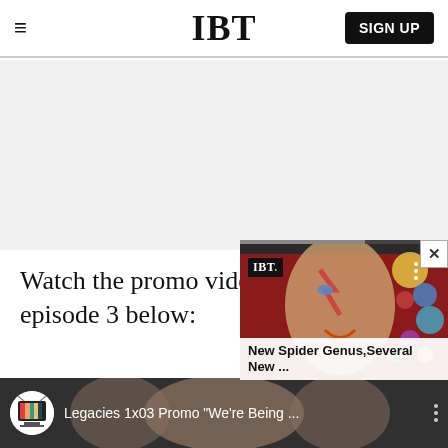IBT
[Figure (other): Gray advertisement placeholder area]
Watch the promo video for episode 3 below:
[Figure (screenshot): IBT video card popup showing a colorful face image with caption 'New Spider Genus, Several New ...']
[Figure (screenshot): Video thumbnail for 'Legacies 1x03 Promo We're Being ...' showing three young actors]